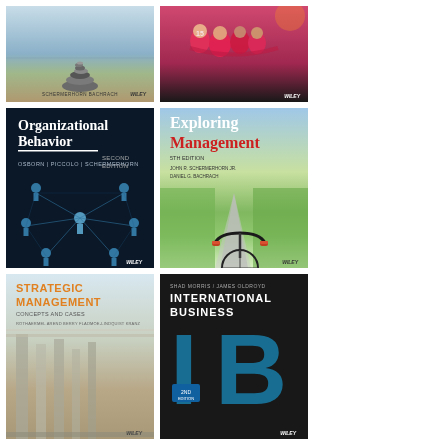[Figure (illustration): Book cover: Management textbook by Schermerhorn & Bachrach with stacked balancing stones on ocean background, Wiley publisher]
[Figure (illustration): Book cover: Sports management or organizational behavior textbook showing sports team in pink jerseys huddling, Wiley publisher]
[Figure (illustration): Book cover: Organizational Behavior Second Edition by Osborn, Piccolo, Schermerhorn, dark background with network of connected human figures, Wiley publisher]
[Figure (illustration): Book cover: Exploring Management textbook, green fields road scene with cyclist, Wiley publisher]
[Figure (illustration): Book cover: Strategic Management Concepts and Cases textbook with modern interior architecture, Wiley publisher]
[Figure (illustration): Book cover: International Business 2nd edition by Shad Morris and James Oldroyd, dark background with large IB letters in teal/blue, Wiley publisher]